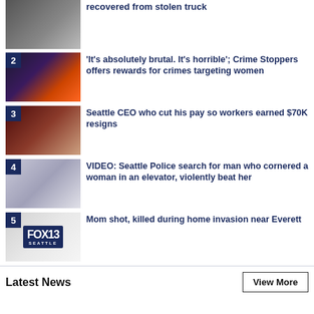recovered from stolen truck
'It's absolutely brutal. It's horrible'; Crime Stoppers offers rewards for crimes targeting women
Seattle CEO who cut his pay so workers earned $70K resigns
VIDEO: Seattle Police search for man who cornered a woman in an elevator, violently beat her
Mom shot, killed during home invasion near Everett
Latest News
View More